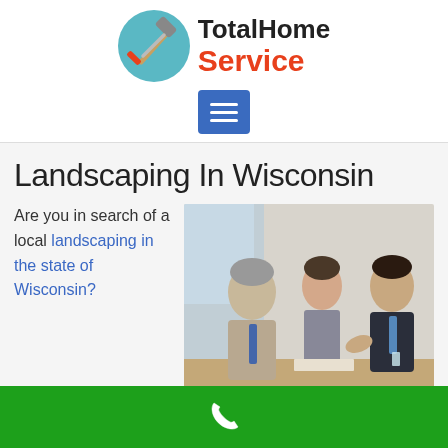[Figure (logo): TotalHome Service logo with hammer and screwdriver icon in teal circle, text 'TotalHome' in black bold and 'Service' in red/orange bold]
[Figure (illustration): Blue square button with three white horizontal lines (hamburger menu icon)]
Landscaping In Wisconsin
Are you in search of a local landscaping in the state of Wisconsin?
[Figure (photo): Three business people in office meeting, two men and one woman, discussing around a table]
[Figure (illustration): Green footer bar with white phone/call icon]